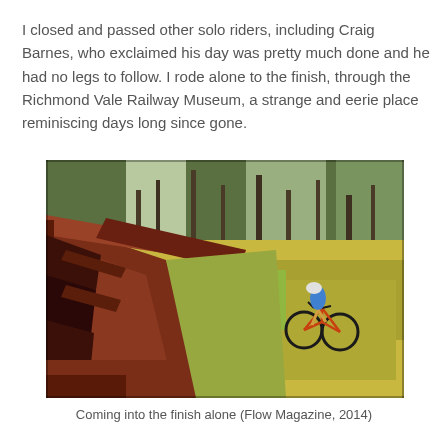I closed and passed other solo riders, including Craig Barnes, who exclaimed his day was pretty much done and he had no legs to follow. I rode alone to the finish, through the Richmond Vale Railway Museum, a strange and eerie place reminiscing days long since gone.
[Figure (photo): A mountain bike rider in blue and yellow gear rides along a grass trail next to large rusted metal railway structures, with tall trees in the background. The photo has a warm, slightly vintage tone.]
Coming into the finish alone (Flow Magazine, 2014)